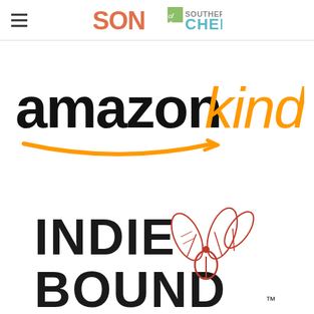[Figure (logo): Son of a Southern Chef logo in header with hamburger menu icon]
[Figure (logo): Amazon Kindle logo with black 'amazon' text, orange 'kindle' text, and orange smile/arrow]
[Figure (logo): IndieBound logo with dark text and red illustrated plant/book graphic, TM mark]